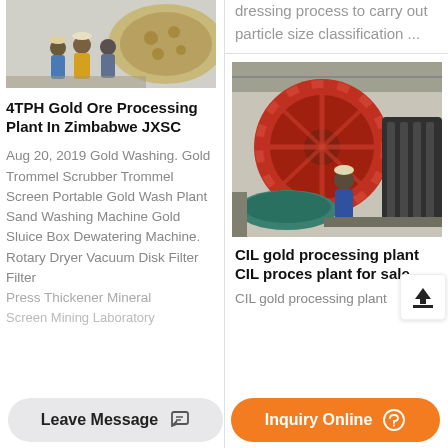[Figure (photo): Three workers posing in front of industrial mining equipment]
4TPH Gold Ore Processing Plant In Zimbabwe JXSC
Aug 20, 2019 Gold Washing. Gold Trommel Scrubber Trommel Screen Portable Gold Wash Plant Sand Washing Machine Gold Sluice Box Dewatering Machine. Rotary Dryer Vacuum Disk Filter Filter Press Thickener Mineral Screen Mining Laboratory
dressing process to carry out particle size classification ...
[Figure (photo): Worker operating large red industrial mining ball mill machinery in warehouse]
CIL gold processing plant CIL proces plant for sale
CIL gold processing plant
Leave Message
Inquiry Online